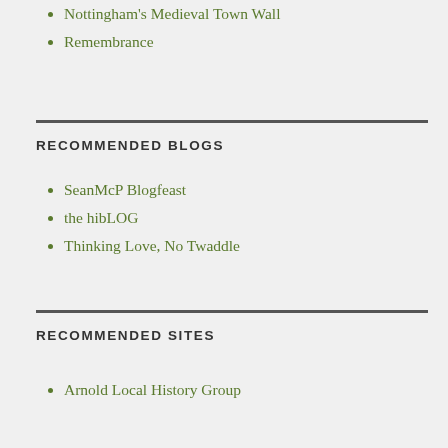Nottingham's Medieval Town Wall
Remembrance
RECOMMENDED BLOGS
SeanMcP Blogfeast
the hibLOG
Thinking Love, No Twaddle
RECOMMENDED SITES
Arnold Local History Group